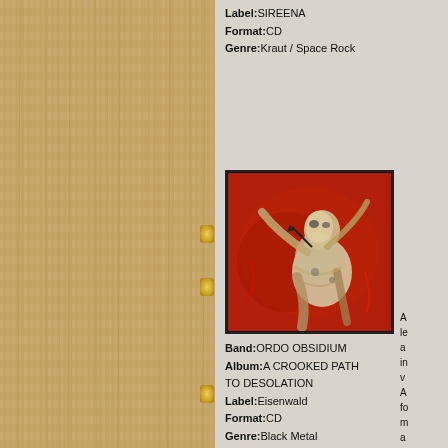[Figure (illustration): Wood panel texture on the left side of the page, light oak color with vertical grain lines and three gold/amber oval dots on the right edge of the panel]
Label:SIREENA
Format:CD
Genre:Kraut / Space Rock
[Figure (illustration): Album cover art with red background showing a grotesque skeletal or monstrous figure with elongated limbs, rendered in dark earth tones against a vivid red background]
Band:ORDO OBSIDIUM
Album:A CROOKED PATH TO DESOLATION
Label:Eisenwald
Format:CD
Genre:Black Metal